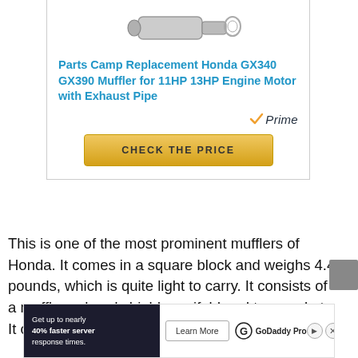[Figure (photo): Product card showing Parts Camp Replacement Honda GX340 GX390 Muffler with product image at top]
Parts Camp Replacement Honda GX340 GX390 Muffler for 11HP 13HP Engine Motor with Exhaust Pipe
CHECK THE PRICE
This is one of the most prominent mufflers of Honda. It comes in a square block and weighs 4.4 pounds, which is quite light to carry. It consists of a muffler, a head shield manifold and two gaskets. It can be used on
[Figure (screenshot): GoDaddy Pro advertisement banner: Get up to nearly 40% faster server response times. Learn More button.]